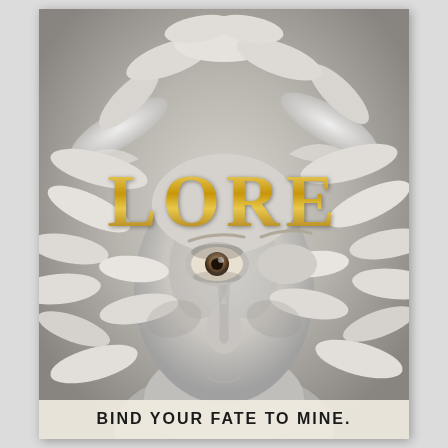[Figure (illustration): Book cover for 'LORE' by Alexandra Bracken. A marble-like sculpture of a woman's face surrounded by intertwined white snakes (Medusa-like figure). The face is pale/stone-white with one visible human eye. The word LORE is displayed in large gold metallic letters across the middle of the image. At the bottom a cream/white bar contains the tagline 'BIND YOUR FATE TO MINE.' in bold uppercase letters.]
LORE
BIND YOUR FATE TO MINE.